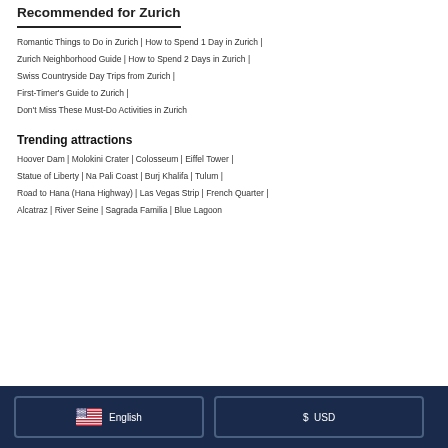Recommended for Zurich
Romantic Things to Do in Zurich | How to Spend 1 Day in Zurich |
Zurich Neighborhood Guide | How to Spend 2 Days in Zurich |
Swiss Countryside Day Trips from Zurich |
First-Timer's Guide to Zurich |
Don't Miss These Must-Do Activities in Zurich
Trending attractions
Hoover Dam | Molokini Crater | Colosseum | Eiffel Tower | Statue of Liberty | Na Pali Coast | Burj Khalifa | Tulum | Road to Hana (Hana Highway) | Las Vegas Strip | French Quarter | Alcatraz | River Seine | Sagrada Familia | Blue Lagoon
English   $  USD